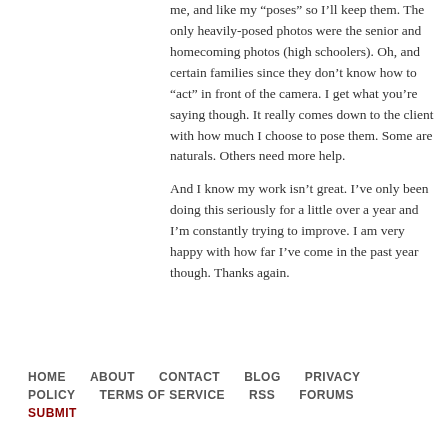me, and like my “poses” so I’ll keep them. The only heavily-posed photos were the senior and homecoming photos (high schoolers). Oh, and certain families since they don’t know how to “act” in front of the camera. I get what you’re saying though. It really comes down to the client with how much I choose to pose them. Some are naturals. Others need more help.
And I know my work isn’t great. I’ve only been doing this seriously for a little over a year and I’m constantly trying to improve. I am very happy with how far I’ve come in the past year though. Thanks again.
HOME   ABOUT   CONTACT   BLOG   PRIVACY POLICY   TERMS OF SERVICE   RSS   FORUMS   SUBMIT